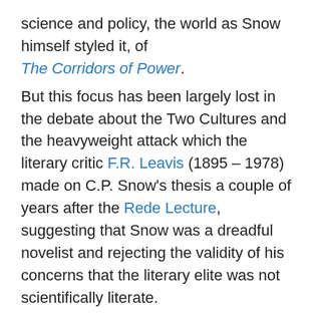science and policy, the world as Snow himself styled it, of The Corridors of Power.
But this focus has been largely lost in the debate about the Two Cultures and the heavyweight attack which the literary critic F.R. Leavis (1895 – 1978) made on C.P. Snow's thesis a couple of years after the Rede Lecture, suggesting that Snow was a dreadful novelist and rejecting the validity of his concerns that the literary elite was not scientifically literate.
Not always incompatible
Isn't it interesting in this context that quite a lot of excellent musicians are also good at maths and science; and probably just as many very good scientists are also decent musicians?
There remains as ever a cultural gap between the humanities and 'science', but they are both very complex